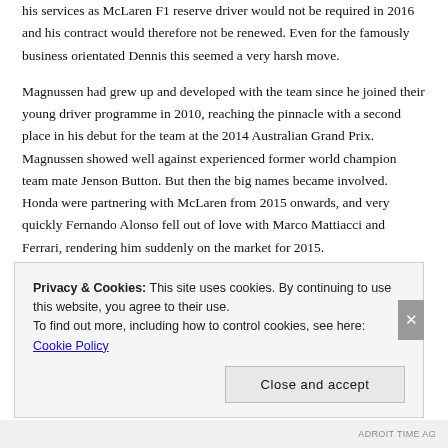his services as McLaren F1 reserve driver would not be required in 2016 and his contract would therefore not be renewed. Even for the famously business orientated Dennis this seemed a very harsh move.
Magnussen had grew up and developed with the team since he joined their young driver programme in 2010, reaching the pinnacle with a second place in his debut for the team at the 2014 Australian Grand Prix. Magnussen showed well against experienced former world champion team mate Jenson Button. But then the big names became involved. Honda were partnering with McLaren from 2015 onwards, and very quickly Fernando Alonso fell out of love with Marco Mattiacci and Ferrari, rendering him suddenly on the market for 2015.
This brought about a scenario which seemed impossible in 2008.
Privacy & Cookies: This site uses cookies. By continuing to use this website, you agree to their use.
To find out more, including how to control cookies, see here: Cookie Policy